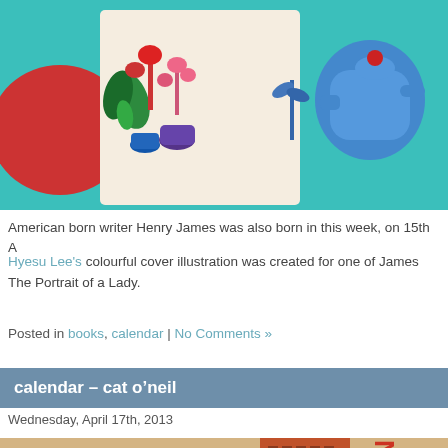[Figure (illustration): Colourful cover illustration with flowers, plants in vases, and a blue teapot on a teal background]
American born writer Henry James was also born in this week, on 15th A
Hyesu Lee's colourful cover illustration was created for one of James... The Portrait of a Lady.
Posted in books, calendar | No Comments »
calendar – cat o'neil
Wednesday, April 17th, 2013
[Figure (illustration): Book cover illustration showing a tall brick building and a man's face with text NICK H]